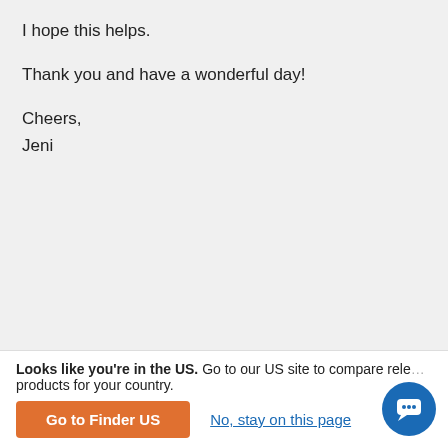I hope this helps.

Thank you and have a wonderful day!

Cheers,
Jeni
Reply
Peter
August 19, 2018
I have a startup/early stage online and offline clothing business with patented phone pocket invention that is developed in all respects except sales which will soon
Looks like you're in the US. Go to our US site to compare relevant products for your country.
Go to Finder US
No, stay on this page